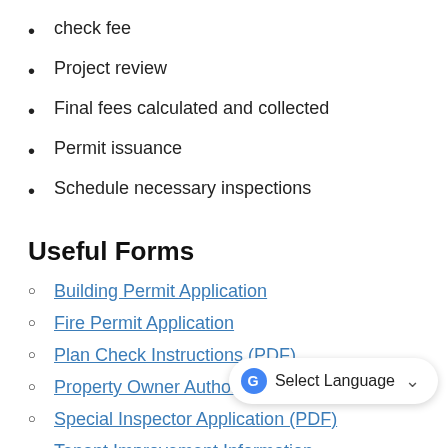check fee
Project review
Final fees calculated and collected
Permit issuance
Schedule necessary inspections
Useful Forms
Building Permit Application
Fire Permit Application
Plan Check Instructions (PDF)
Property Owner Authorization Form (PDF)
Special Inspector Application (PDF)
Tenant Improvement Information (PDF)
Neighbor Agreement for Block Wall or Fence
EV Charger Checklist Residential